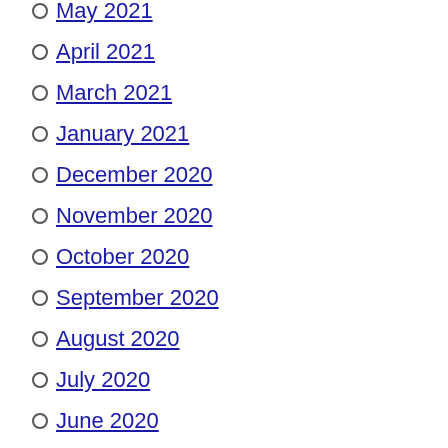May 2021
April 2021
March 2021
January 2021
December 2020
November 2020
October 2020
September 2020
August 2020
July 2020
June 2020
May 2020
April 2020
March 2020
February 2020
January 2020
December 2019
November 2019
October 2019
September 2019
August 2019
July 2019
June 2019
May 2019
April 2019